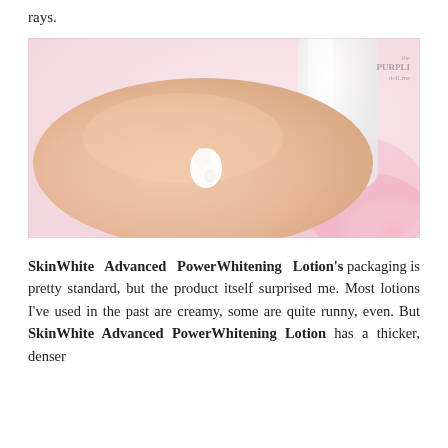rays.
[Figure (photo): Close-up photo of a hand with a small dollop of white lotion/cream on the back of the hand, with a lotion bottle in the background. Watermark reads 'the PURPLEDOLL.me' in the upper right corner.]
SkinWhite Advanced PowerWhitening Lotion's packaging is pretty standard, but the product itself surprised me. Most lotions I've used in the past are creamy, some are quite runny, even. But SkinWhite Advanced PowerWhitening Lotion has a thicker, denser